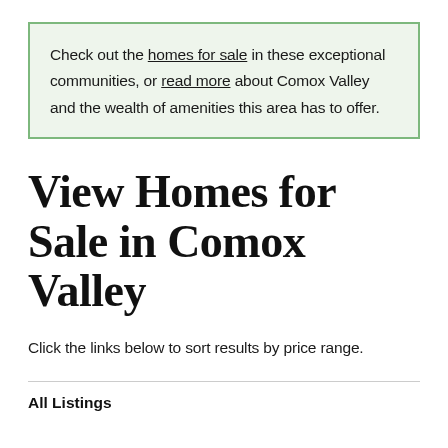Check out the homes for sale in these exceptional communities, or read more about Comox Valley and the wealth of amenities this area has to offer.
View Homes for Sale in Comox Valley
Click the links below to sort results by price range.
All Listings